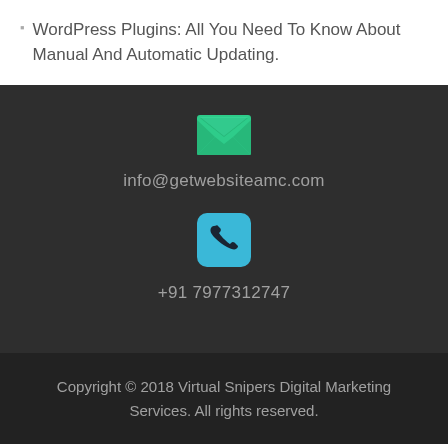WordPress Plugins: All You Need To Know About Manual And Automatic Updating.
[Figure (illustration): Green envelope icon for email contact]
info@getwebsiteamc.com
[Figure (illustration): Blue rounded square with white phone handset icon]
+91 7977312747
Copyright © 2018 Virtual Snipers Digital Marketing Services. All rights reserved.